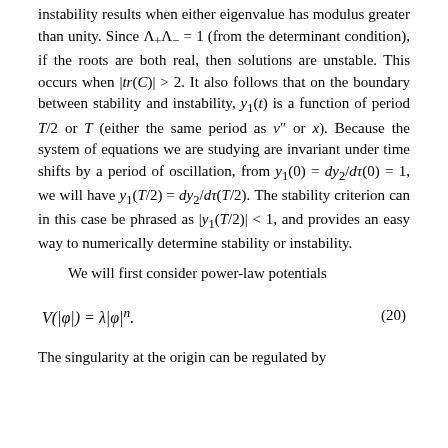Instability results when either eigenvalue has modulus greater than unity. Since Λ₊Λ₋ = 1 (from the determinant condition), if the roots are both real, then solutions are unstable. This occurs when |tr(C)| > 2. It also follows that on the boundary between stability and instability, y₁(t) is a function of period T/2 or T (either the same period as v″ or x). Because the system of equations we are studying are invariant under time shifts by a period of oscillation, from y₁(0) = dy₂/dτ(0) = 1, we will have y₁(T/2) = dy₂/dτ(T/2). The stability criterion can in this case be phrased as |y₁(T/2)| < 1, and provides an easy way to numerically determine stability or instability.
We will first consider power-law potentials
The singularity at the origin can be regulated by